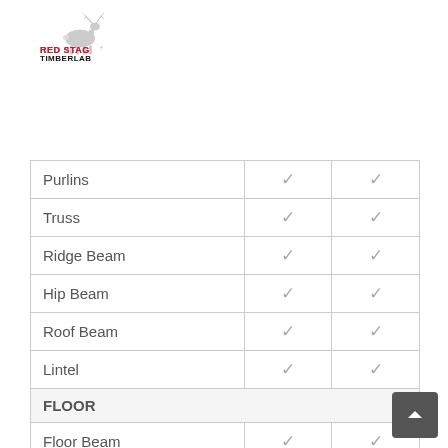[Figure (logo): Red Stag Timberlab logo with deer silhouette]
|  |  |  |
| --- | --- | --- |
| Purlins | ✓ | ✓ |
| Truss | ✓ | ✓ |
| Ridge Beam | ✓ | ✓ |
| Hip Beam | ✓ | ✓ |
| Roof Beam | ✓ | ✓ |
| Lintel | ✓ | ✓ |
| FLOOR |  |  |
| Floor Beam | ✓ | ✓ |
| Floor Joist | ✓ | ✓ |
| Trimmers | ✓ | ✓ |